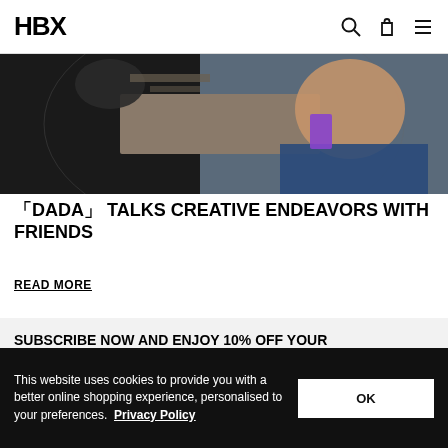HBX
[Figure (photo): Two people looking up into a fisheye camera lens in an office/workspace setting; one person in a black top making a peace sign, the other in a blue top holding a phone.]
「DADA」 TALKS CREATIVE ENDEAVORS WITH FRIENDS
READ MORE
SUBSCRIBE NOW AND ENJOY 10% OFF YOUR FIRST ORDER
Email Address
SUBSCRIBE
This website uses cookies to provide you with a better online shopping experience, personalised to your preferences. Privacy Policy
OK